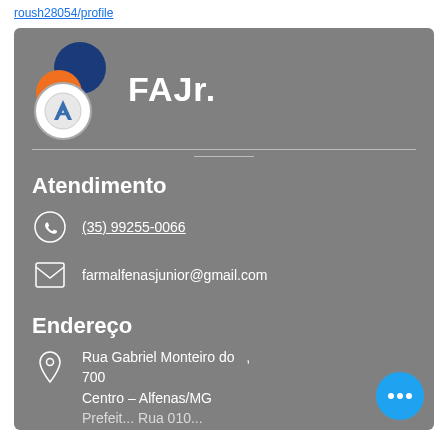roush28054/profile
[Figure (logo): FAJr. logo with overlapping dark blue and orange circles above a white circular emblem with a stylized arrow, next to the text 'FAJr.']
Atendimento
(35) 99255-0066
farmalfenasjunior@gmail.com
Endereço
Rua Gabriel Monteiro do...
700
Centro – Alfenas/MG
Prefeit... Rua 010...